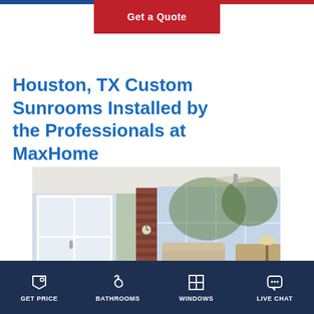Get a Quote
Houston, TX Custom Sunrooms Installed by the Professionals at MaxHome
[Figure (photo): Interior of a bright sunroom with white framed windows on multiple walls, brick chimney column, hardwood flooring, wicker and upholstered furniture, ceiling fan, and view of trees outside.]
GET PRICE | BATHROOMS | WINDOWS | LIVE CHAT